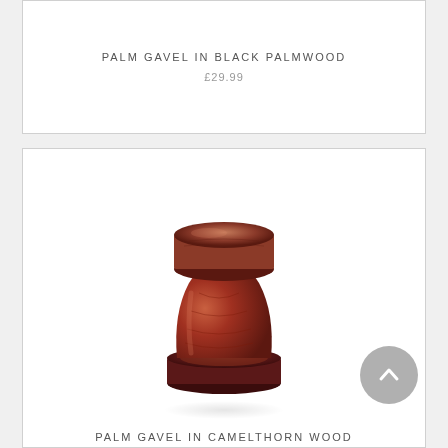PALM GAVEL IN BLACK PALMWOOD
£29.99
[Figure (photo): A palm gavel made from Camelthorn wood, reddish-brown hourglass shaped wooden gavel with a round flat top sitting on a circular base, photographed on white background]
PALM GAVEL IN CAMELTHORN WOOD
£29.99